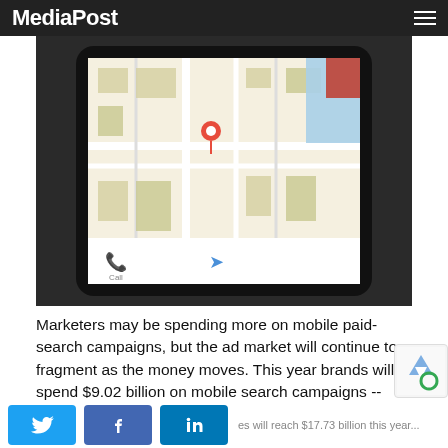MediaPost
[Figure (photo): A smartphone displaying a Google Maps navigation screen, shown at an angle on a dark background.]
Marketers may be spending more on mobile paid-search campaigns, but the ad market will continue to fragment as the money moves. This year brands will spend $9.02 billion on mobile search campaigns -- climbing to $28.41 billion, or 85.9% of the U.S. digital search advertising market by 2018, per eMarketer. Apps will take more search dollars and share than some expect.
Newly released stats from the analysis firm show how search marketers continue to move money to mobile in an effort to meet consumers in a mobile ad market that will reach $17.73 billion this year...